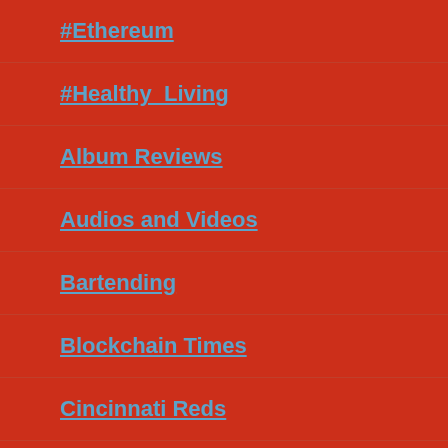#Ethereum
#Healthy_Living
Album Reviews
Audios and Videos
Bartending
Blockchain Times
Cincinnati Reds
CoinReview.com
Comedy